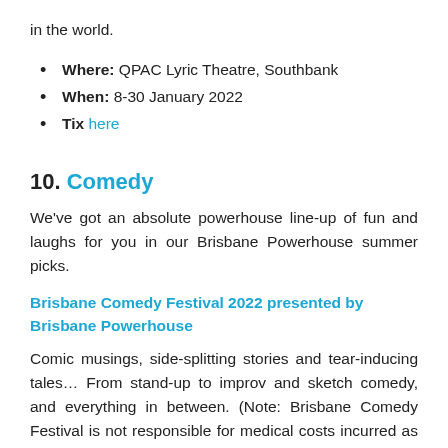in the world.
Where: QPAC Lyric Theatre, Southbank
When: 8-30 January 2022
Tix here
10. Comedy
We've got an absolute powerhouse line-up of fun and laughs for you in our Brisbane Powerhouse summer picks.
Brisbane Comedy Festival 2022 presented by Brisbane Powerhouse
Comic musings, side-splitting stories and tear-inducing tales… From stand-up to improv and sketch comedy, and everything in between. (Note: Brisbane Comedy Festival is not responsible for medical costs incurred as a result of said side-splitting.)
Where: Brisbane Powerhouse, The Tivoli & The